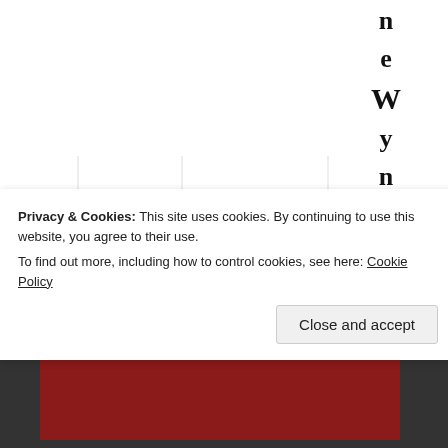[Figure (screenshot): Website page showing vertical rotated text letters spelling 'newynn' in bold black and 'April 5' in light gray on the right side, with vertical column lines in background]
Privacy & Cookies: This site uses cookies. By continuing to use this website, you agree to their use.
To find out more, including how to control cookies, see here: Cookie Policy
Close and accept